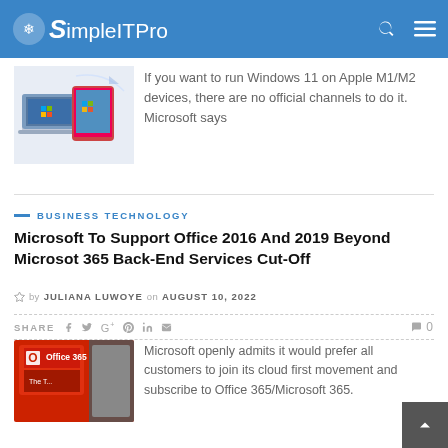SimpleITPro
[Figure (screenshot): Windows 11 on Apple M1/M2 devices illustration with Mac and Windows screens]
If you want to run Windows 11 on Apple M1/M2 devices, there are no official channels to do it. Microsoft says
BUSINESS TECHNOLOGY
Microsoft To Support Office 2016 And 2019 Beyond Microsot 365 Back-End Services Cut-Off
by JULIANA LUWOYE on AUGUST 10, 2022
SHARE  f  t  G+  P  in  ✉   0
[Figure (photo): Office 365 product box/packaging image]
Microsoft openly admits it would prefer all customers to join its cloud first movement and subscribe to Office 365/Microsoft 365.